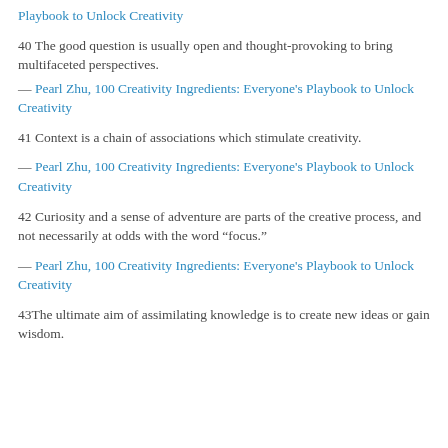Playbook to Unlock Creativity
40 The good question is usually open and thought-provoking to bring multifaceted perspectives.
— Pearl Zhu, 100 Creativity Ingredients: Everyone's Playbook to Unlock Creativity
41 Context is a chain of associations which stimulate creativity.

— Pearl Zhu, 100 Creativity Ingredients: Everyone's Playbook to Unlock Creativity
42 Curiosity and a sense of adventure are parts of the creative process, and not necessarily at odds with the word “focus.”

— Pearl Zhu, 100 Creativity Ingredients: Everyone's Playbook to Unlock Creativity
43The ultimate aim of assimilating knowledge is to create new ideas or gain wisdom.